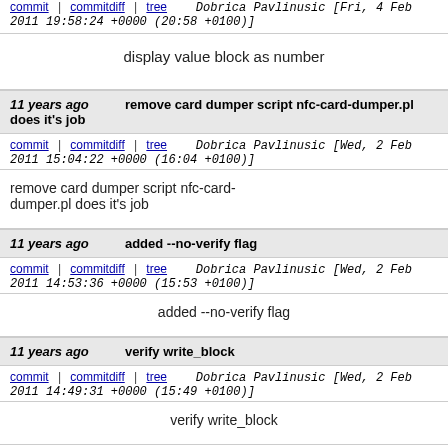commit | commitdiff | tree   Dobrica Pavlinusic [Fri, 4 Feb 2011 19:58:24 +0000 (20:58 +0100)]
display value block as number
11 years ago   remove card dumper script nfc-card-dumper.pl does it's job
commit | commitdiff | tree   Dobrica Pavlinusic [Wed, 2 Feb 2011 15:04:22 +0000 (16:04 +0100)]
remove card dumper script nfc-card-dumper.pl does it's job
11 years ago   added --no-verify flag
commit | commitdiff | tree   Dobrica Pavlinusic [Wed, 2 Feb 2011 14:53:36 +0000 (15:53 +0100)]
added --no-verify flag
11 years ago   verify write_block
commit | commitdiff | tree   Dobrica Pavlinusic [Wed, 2 Feb 2011 14:49:31 +0000 (15:49 +0100)]
verify write_block